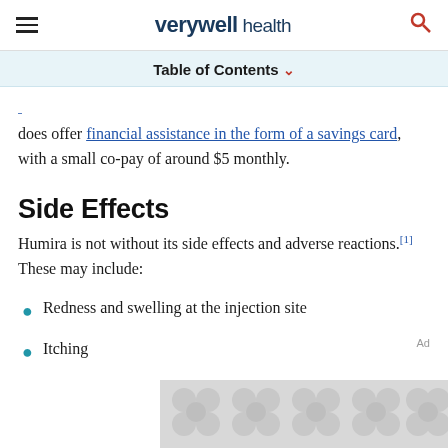verywell health
Table of Contents
does offer financial assistance in the form of a savings card, with a small co-pay of around $5 monthly.
Side Effects
Humira is not without its side effects and adverse reactions.[1] These may include:
Redness and swelling at the injection site
Itching